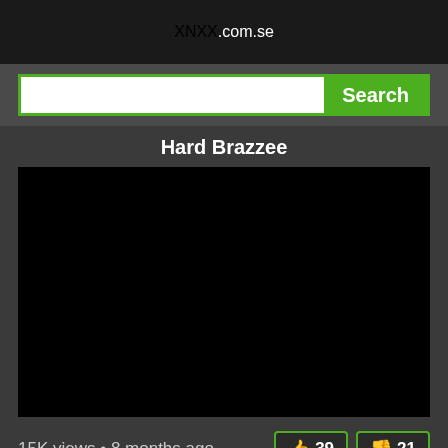XNXX.com.se
Search
Hard Brazzee
[Figure (other): Black video player area]
15K views • 8 months ago
39
21